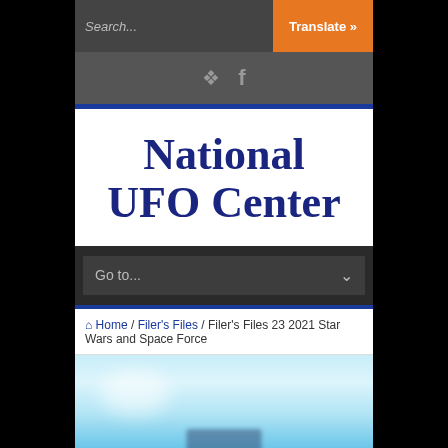Search... | Translate »
National UFO Center
Go to...
Home / Filer's Files / Filer's Files 23 2021 Star Wars and Space Force
[Figure (photo): Light blue hazy sky or aerial image with a blurred rectangular dark object near the bottom center]